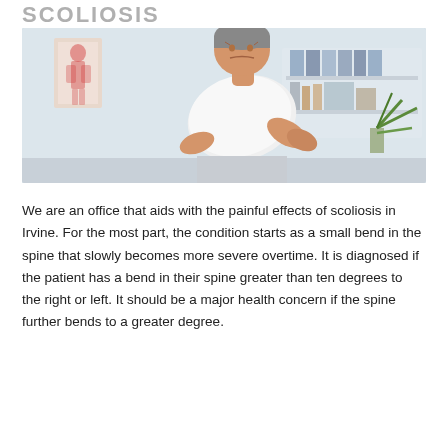SCOLIOSIS
[Figure (photo): A middle-aged man in a white t-shirt holding his lower back in pain, standing in a medical office with a human anatomy poster and shelves in the background.]
We are an office that aids with the painful effects of scoliosis in Irvine. For the most part, the condition starts as a small bend in the spine that slowly becomes more severe overtime. It is diagnosed if the patient has a bend in their spine greater than ten degrees to the right or left. It should be a major health concern if the spine further bends to a greater degree.